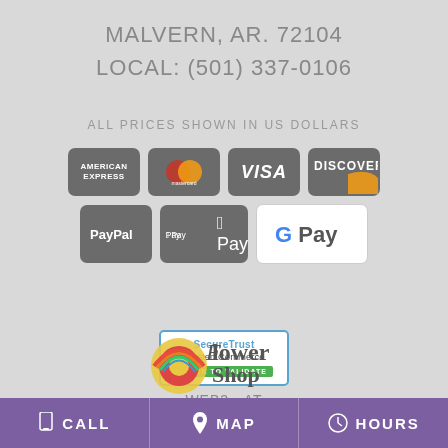MALVERN, AR. 72104
LOCAL: (501) 337-0106
ALL PRICES SHOWN IN US DOLLARS
[Figure (infographic): Payment method icons: American Express, Mastercard, Visa, Discover, PayPal, Apple Pay, Google Pay]
[Figure (infographic): SecureTrust Trusted Commerce CLICK TO VALIDATE badge]
WEB3 - AT
[Figure (logo): Flower Shop Network logo]
CALL  MAP  HOURS